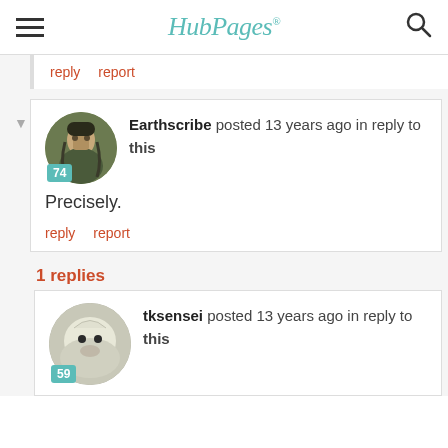HubPages
reply   report
Earthscribe posted 13 years ago in reply to this

Precisely.

reply   report
1 replies
tksensei posted 13 years ago in reply to this